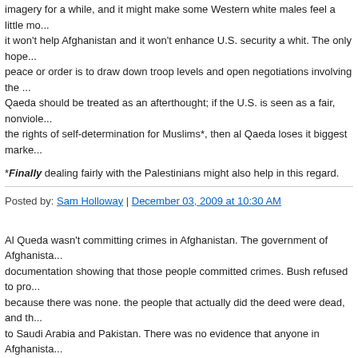imagery for a while, and it might make some Western white males feel a little mo... it won't help Afghanistan and it won't enhance U.S. security a whit. The only hope... peace or order is to draw down troop levels and open negotiations involving the... Qaeda should be treated as an afterthought; if the U.S. is seen as a fair, nonviole... the rights of self-determination for Muslims*, then al Qaeda loses it biggest marke...
*Finally dealing fairly with the Palestinians might also help in this regard.
Posted by: Sam Holloway | December 03, 2009 at 10:30 AM
Al Queda wasn't committing crimes in Afghanistan. The government of Afghanista... documentation showing that those people committed crimes. Bush refused to pro... because there was none. the people that actually did the deed were dead, and th... to Saudi Arabia and Pakistan. There was no evidence that anyone in Afghanista... attacks. Just Bush's word that they were. Osama Bin Laden for example, was be... attacks. There has been no video of him since Jan 2001, when we were told by e... his condition was terminal. A later video showed a Osama Bin Laden that had yo... you believe that one, then we should find him just to uncover the secret to immor...
If you remember, before 9/11, the Bush administration was already talking about... Afghanistan after Ken Lay's failed negotiations, here in Texas, for a pipeline deal...
If the Russian Government demanded that the US government give up David Du... for a crime committed in Russia and provided no evidence that they were involve... round them all up and fly them out, as we expected Afghanistan to do for us?
Posted by: Weaseldog | December 03, 2009 at 02:19 PM
Alon said, "The Taliban didn't indirectly support Al Qaida; it incorporated it into th...